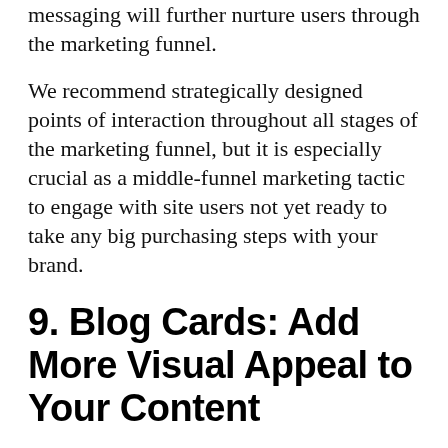messaging will further nurture users through the marketing funnel.
We recommend strategically designed points of interaction throughout all stages of the marketing funnel, but it is especially crucial as a middle-funnel marketing tactic to engage with site users not yet ready to take any big purchasing steps with your brand.
9. Blog Cards: Add More Visual Appeal to Your Content
Your blog is a crucial aspect of all stages of the marketing funnel and your overall